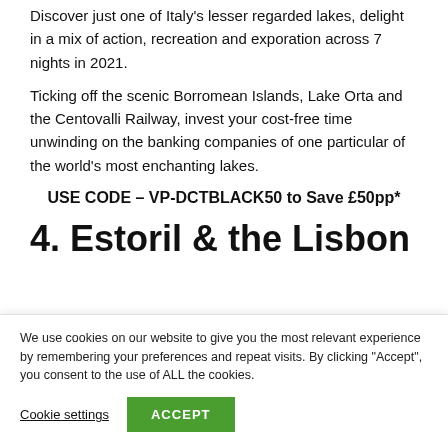Discover just one of Italy's lesser regarded lakes, delight in a mix of action, recreation and exporation across 7 nights in 2021.
Ticking off the scenic Borromean Islands, Lake Orta and the Centovalli Railway, invest your cost-free time unwinding on the banking companies of one particular of the world’s most enchanting lakes.
USE CODE – VP-DCTBLACK50 to Save £50pp*
4. Estoril & the Lisbon
We use cookies on our website to give you the most relevant experience by remembering your preferences and repeat visits. By clicking “Accept”, you consent to the use of ALL the cookies.
Cookie settings
ACCEPT